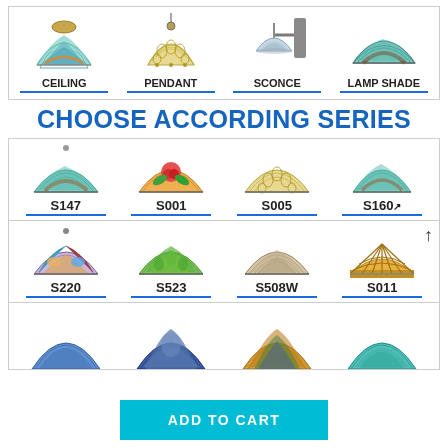[Figure (infographic): Top navigation row showing four lighting product categories: CEILING (flush mount tiffany lamp), PENDANT (hanging tiffany shade), SCONCE (wall sconce tiffany), LAMP SHADE (half-dome tiffany shade)]
CHOOSE ACCORDING SERIES
[Figure (infographic): Grid of Tiffany lamp series showing lamp shade images with series codes: Row 1: S147, S001, S005, S160; Row 2: S220, S523, S508W, S011; Row 3: four more partially visible lamp shades]
ADD TO CART